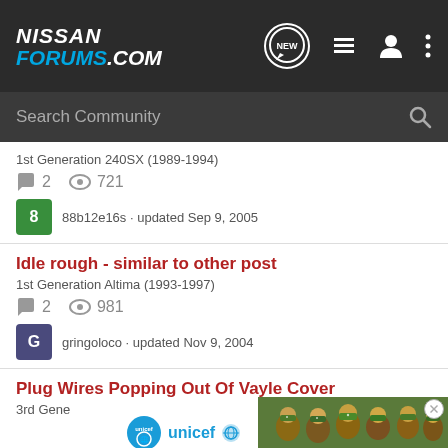NISSAN FORUMS.COM
Search Community
1st Generation 240SX (1989-1994)
2  721
88b12e16s · updated Sep 9, 2005
Idle rough - similar to other post
1st Generation Altima (1993-1997)
2  981
gringoloco · updated Nov 9, 2004
Plug Wires Popping Out Of Vayle Cover
3rd Gene
[Figure (photo): UNICEF advertisement with photo of children wearing green hats]